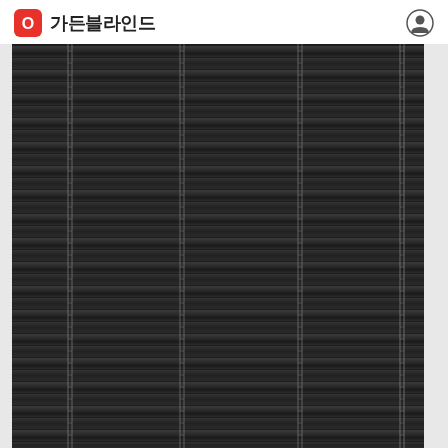가든블라인드
[Figure (photo): Close-up photograph of closed dark charcoal/black horizontal venetian blinds with visible cord ladders running vertically, against a white wall background.]